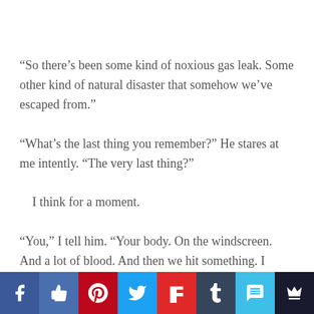“So there’s been some kind of noxious gas leak. Some other kind of natural disaster that somehow we’ve escaped from.”
“What’s the last thing you remember?” He stares at me intently. “The very last thing?”
I think for a moment.
“You,” I tell him. “Your body. On the windscreen. And a lot of blood. And then we hit something. I couldn’t see…